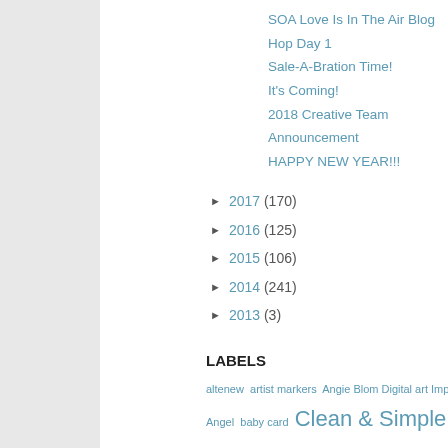SOA Love Is In The Air Blog Hop Day 1
Sale-A-Bration Time!
It's Coming!
2018 Creative Team Announcement
HAPPY NEW YEAR!!!
► 2017 (170)
► 2016 (125)
► 2015 (106)
► 2014 (241)
► 2013 (3)
LABELS
altenew artist markers Angie Blom Digital art Impressions Artful Angel baby card Clean & Simple coffee color hues challenge Colorado Craft Company C distress ink distress oxides Dr. Digi Easter emboss resist embossing floral G diecutting Interactive cards Joy Clair KLM Krista Smith kuretake Lavinia lawn mother's day My Favorite Things newton's nook nuvo embellishment mousse Poppystamps PPCF Prismacolor pencils Rainbow Random Acts o Slimline spotlight stampendous StampNation stencilling sweet sentiment sta room studio saturday challenge Tim Holtz tombow dual brush pens